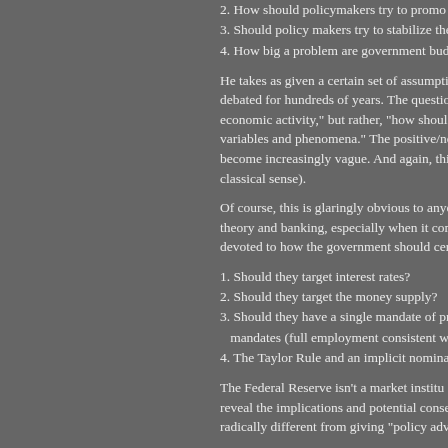2. How should policymakers try to promo...
3. Should policy makers try to stabilize the...
4. How big a problem are government bud...
He takes as given a certain set of assumpti... debated for hundreds of years. The questio... economic activity," but rather, "how shoul... variables and phenomena." The positive/no... become increasingly vague. And again, thi... classical sense).
Of course, this is glaringly obvious to anyo... theory and banking, especially when it com... devoted to how the government should cer...
1. Should they target interest rates?
2. Should they target the money supply?
3. Should they have a single mandate of pr... mandates (full employment consistent with...
4. The Taylor Rule and an implicit nomina...
The Federal Reserve isn't a market institu... reveal the implications and potential conse... radically different from giving "policy adv...
Posted by: John Voigt | November 29, 2010 at 02:51 P
Peter Boettke,